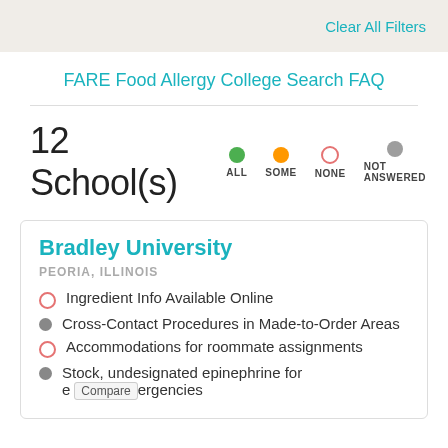Clear All Filters
FARE Food Allergy College Search FAQ
12 School(s)  ALL  SOME  NONE  NOT ANSWERED
Bradley University
PEORIA, ILLINOIS
Ingredient Info Available Online
Cross-Contact Procedures in Made-to-Order Areas
Accommodations for roommate assignments
Stock, undesignated epinephrine for emergencies